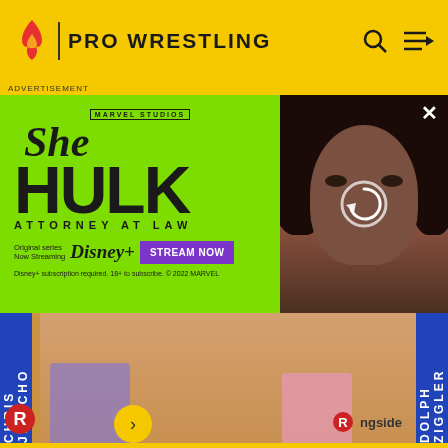PRO WRESTLING
[Figure (screenshot): She-Hulk Attorney at Law advertisement on green background with Disney+ Stream Now button and image of actress on right side]
[Figure (photo): WWE action figures - Chris Jericho and Dolph Ziggler in packaging with Ringside logo]
Chris J
We want your honest take on online discussions
SURVEY: ONLINE FORUMS